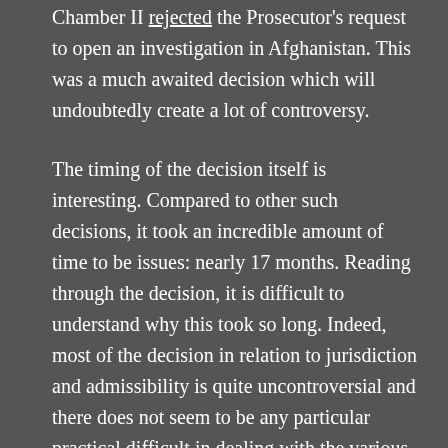Chamber II rejected the Prosecutor's request to open an investigation in Afghanistan. This was a much awaited decision which will undoubtedly create a lot of controversy.
The timing of the decision itself is interesting. Compared to other such decisions, it took an incredible amount of time to be issues: nearly 17 months. Reading through the decision, it is difficult to understand why this took so long. Indeed, most of the decision in relation to jurisdiction and admissibility is quite uncontroversial and there does not seem to be any particular practical difficult in dealing with the various issues rapidly. This